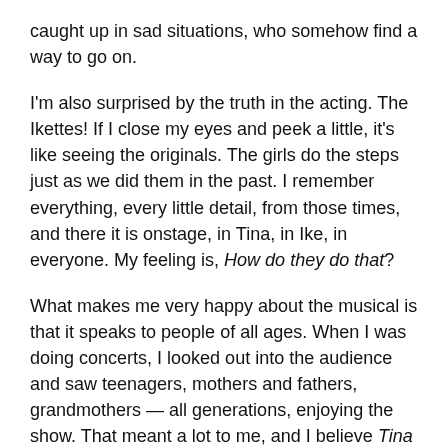caught up in sad situations, who somehow find a way to go on.
I'm also surprised by the truth in the acting. The Ikettes! If I close my eyes and peek a little, it's like seeing the originals. The girls do the steps just as we did them in the past. I remember everything, every little detail, from those times, and there it is onstage, in Tina, in Ike, in everyone. My feeling is, How do they do that?
What makes me very happy about the musical is that it speaks to people of all ages. When I was doing concerts, I looked out into the audience and saw teenagers, mothers and fathers, grandmothers — all generations, enjoying the show. That meant a lot to me, and I believe Tina has the same kind of appeal. The period of my life that is best known is my time with Ike, but my childhood is an important part of my story, too — my pain when my mother left, my joy in singing in church,